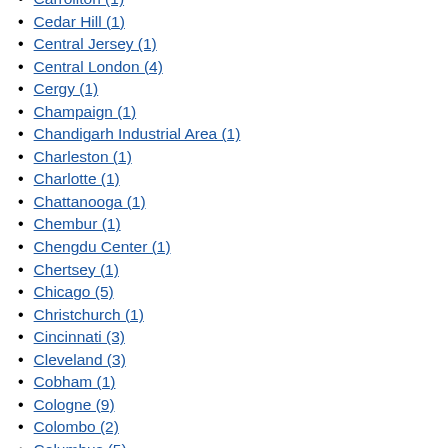Carrollton (1)
Cedar Hill (1)
Central Jersey (1)
Central London (4)
Cergy (1)
Champaign (1)
Chandigarh Industrial Area (1)
Charleston (1)
Charlotte (1)
Chattanooga (1)
Chembur (1)
Chengdu Center (1)
Chertsey (1)
Chicago (5)
Christchurch (1)
Cincinnati (3)
Cleveland (3)
Cobham (1)
Cologne (9)
Colombo (2)
Columbus (5)
Commerce (1)
Copenhagen (8)
Coral Springs (1)
Coventry (1)
Crawley (1)